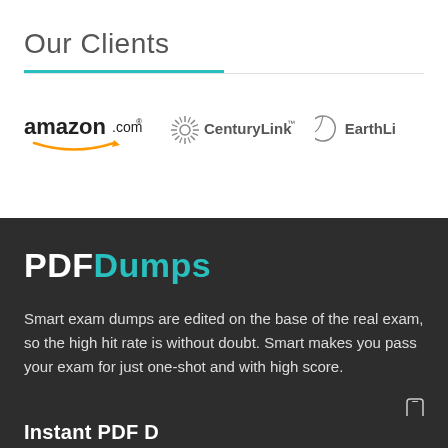Our Clients
[Figure (logo): amazon.com logo with smile arrow]
[Figure (logo): CenturyLink logo with starburst icon]
[Figure (logo): EarthLink logo (partially visible) with leaf icon]
PDFDumps
Smart exam dumps are edited on the base of the real exam, so the high hit rate is without doubt. Smart makes you pass your exam for just one-shot and with high score.
Instant PDF D...